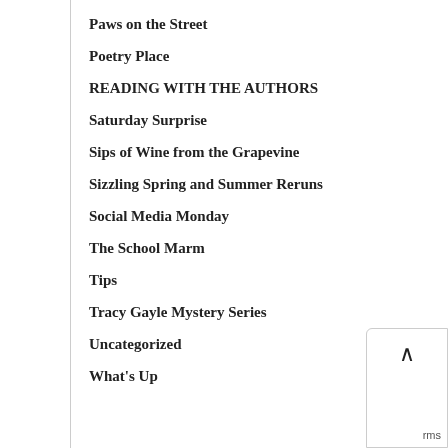Paws on the Street
Poetry Place
READING WITH THE AUTHORS
Saturday Surprise
Sips of Wine from the Grapevine
Sizzling Spring and Summer Reruns
Social Media Monday
The School Marm
Tips
Tracy Gayle Mystery Series
Uncategorized
What's Up